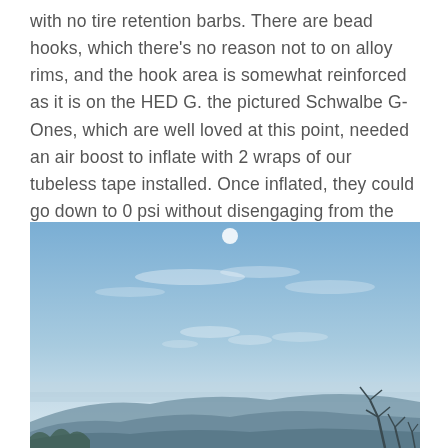with no tire retention barbs. There are bead hooks, which there's no reason not to on alloy rims, and the hook area is somewhat reinforced as it is on the HED G. the pictured Schwalbe G-Ones, which are well loved at this point, needed an air boost to inflate with 2 wraps of our tubeless tape installed. Once inflated, they could go down to 0 psi without disengaging from the shelf.
[Figure (photo): Outdoor landscape photo showing a blue sky with wispy white clouds and a faint sun flare near the top center. Rolling hills or mountains are visible along the bottom horizon, with bare tree branches visible in the lower right corner. The horizon shows a gradient from lighter sky at the bottom to deeper blue at the top.]